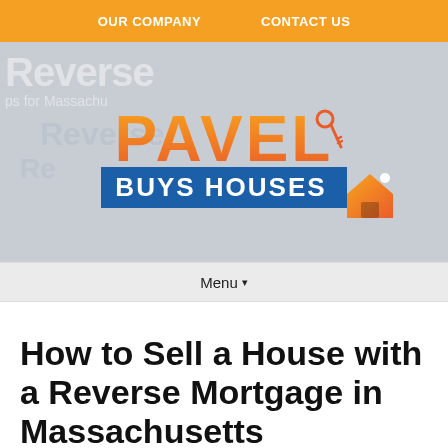OUR COMPANY   CONTACT US
[Figure (logo): Pavel Buys Houses logo on a gray hero banner background with faded 'Reverse Mortgage' text watermark]
Menu ▾
How to Sell a House with a Reverse Mortgage in Massachusetts
August 9, 2021